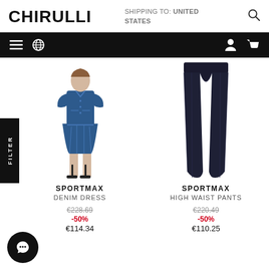CHIRULLI  SHIPPING TO: UNITED STATES
[Figure (screenshot): Navigation bar with hamburger menu, globe icon on left; person and cart icons on right, black background]
[Figure (photo): Sportmax denim dress worn by model, short sleeves, button front, flared skirt, worn with heeled sandals]
[Figure (photo): Sportmax high waist black wide-leg pants, shown on white background]
SPORTMAX
DENIM DRESS
€228.69
-50%
€114.34
SPORTMAX
HIGH WAIST PANTS
€220.49
-50%
€110.25
[Figure (illustration): Round black chat/message button with speech bubble icon in bottom left corner]